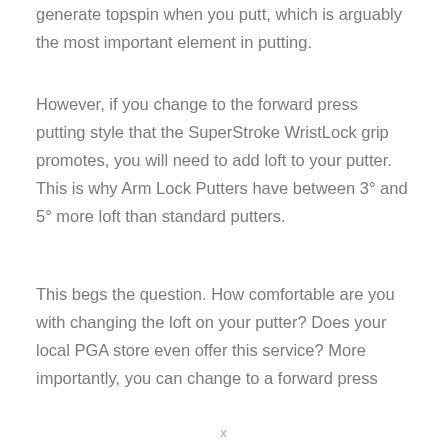generate topspin when you putt, which is arguably the most important element in putting.
However, if you change to the forward press putting style that the SuperStroke WristLock grip promotes, you will need to add loft to your putter. This is why Arm Lock Putters have between 3° and 5° more loft than standard putters.
This begs the question. How comfortable are you with changing the loft on your putter? Does your local PGA store even offer this service? More importantly, you can change to a forward press
x